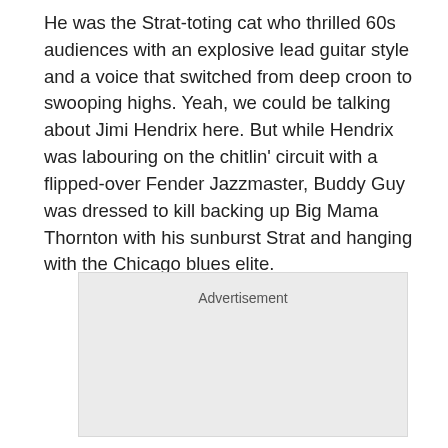He was the Strat-toting cat who thrilled 60s audiences with an explosive lead guitar style and a voice that switched from deep croon to swooping highs. Yeah, we could be talking about Jimi Hendrix here. But while Hendrix was labouring on the chitlin' circuit with a flipped-over Fender Jazzmaster, Buddy Guy was dressed to kill backing up Big Mama Thornton with his sunburst Strat and hanging with the Chicago blues elite.
[Figure (other): Advertisement placeholder box with light grey background]